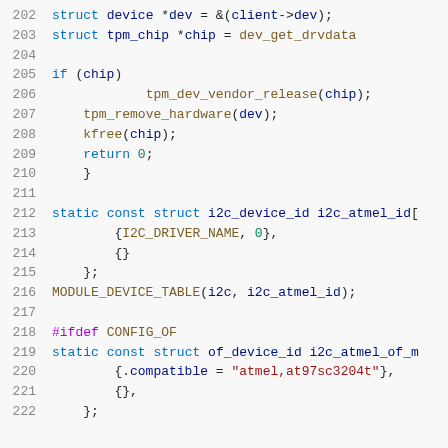Source code listing, lines 202-222, C kernel driver code
202    struct device *dev = &(client->dev);
203    struct tpm_chip *chip = dev_get_drvdata
204
205    if (chip)
206            tpm_dev_vendor_release(chip);
207    tpm_remove_hardware(dev);
208    kfree(chip);
209    return 0;
210    }
211
212    static const struct i2c_device_id i2c_atmel_id[
213        {I2C_DRIVER_NAME, 0},
214        {}
215    };
216    MODULE_DEVICE_TABLE(i2c, i2c_atmel_id);
217
218    #ifdef CONFIG_OF
219    static const struct of_device_id i2c_atmel_of_m
220        {.compatible = "atmel,at97sc3204t"},
221        {},
222    };